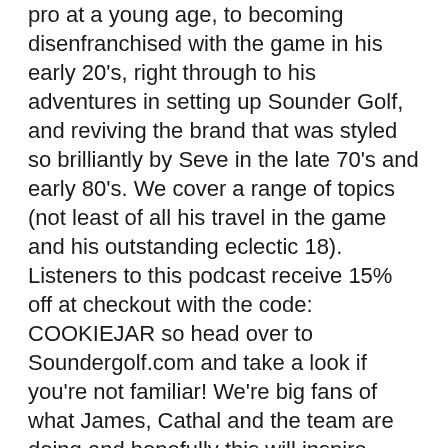pro at a young age, to becoming disenfranchised with the game in his early 20's, right through to his adventures in setting up Sounder Golf, and reviving the brand that was styled so brilliantly by Seve in the late 70's and early 80's. We cover a range of topics (not least of all his travel in the game and his outstanding eclectic 18). Listeners to this podcast receive 15% off at checkout with the code: COOKIEJAR so head over to Soundergolf.com and take a look if you're not familiar! We're big fans of what James, Cathal and the team are doing and hopefully this will inspire more people to take a closer look.  A look at his eclectic 18:
Hole 1 - Merion (east)
Hole 2 - Rye
Hole 3 - Muirfield